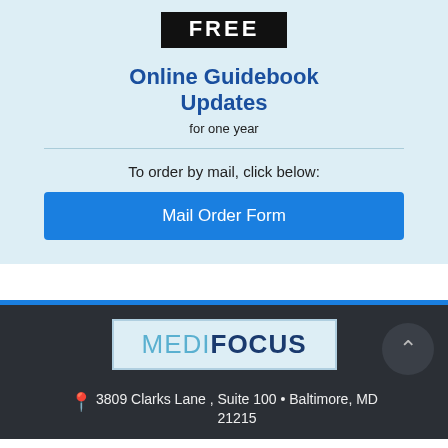FREE
Online Guidebook Updates
for one year
To order by mail, click below:
Mail Order Form
[Figure (logo): MediFocus logo in a light blue bordered rectangle on dark background]
3809 Clarks Lane , Suite 100 • Baltimore, MD 21215